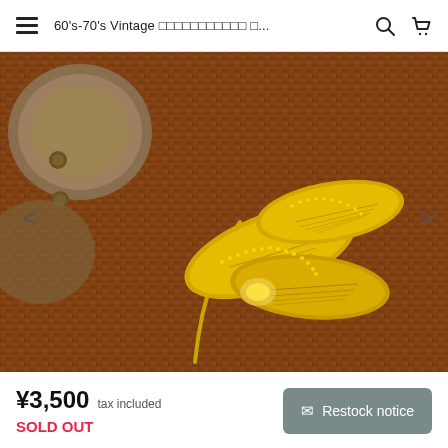60's-70's Vintage □□□□□□□□□□□ □...
[Figure (photo): Close-up photograph of a gold-tone vintage leaf/wheat brooch pin placed on a brown woven fabric surface, with part of a brass decorative object visible in the upper left corner.]
¥3,500  tax included
SOLD OUT
✉ Restock notice